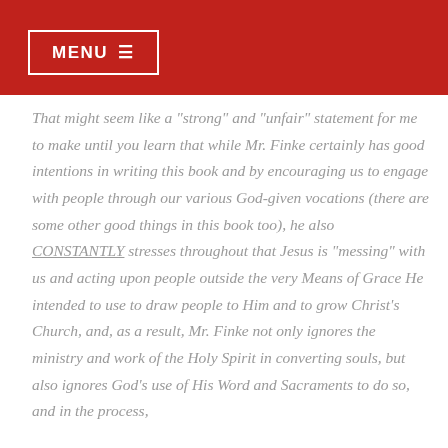MENU ☰
That might seem like a "strong" and "unfair" statement for me to make until you learn that while Mr. Finke certainly has good intentions in writing this book and by encouraging us to engage with people through our various God-given vocations (there are some other good things in this book too), he also CONSTANTLY stresses throughout that Jesus is "messing" with us and acting upon people outside the very Means of Grace He intended to use to draw people to Him and to grow Christ's Church, and, as a result, Mr. Finke not only ignores the ministry and work of the Holy Spirit in converting souls, but also ignores God's use of His Word and Sacraments to do so, and in the process,